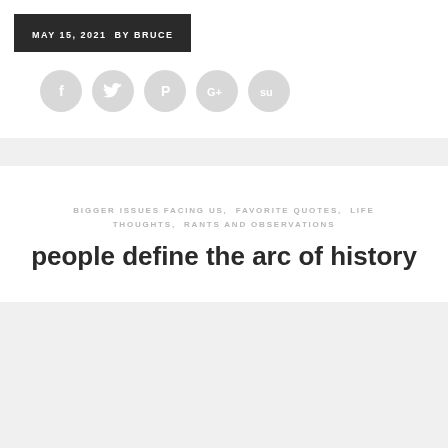MAY 15, 2021  BY BRUCE
[Figure (infographic): Five gray circular social media share buttons: Facebook (f), Twitter (bird), Pinterest (P), Google+ (G+), StumbleUpon (su)]
BIGGER ISSUES FACING US,  FAVORITE QUOTES,  LIFE THOUGHTS,  RANTS AND OBSERVATIONS
people define the arc of history